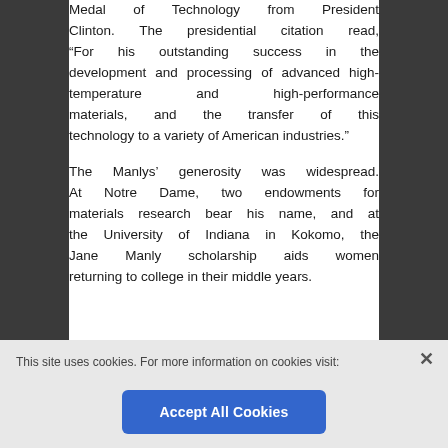Medal of Technology from President Clinton. The presidential citation read, “For his outstanding success in the development and processing of advanced high-temperature and high-performance materials, and the transfer of this technology to a variety of American industries.”
The Manlys’ generosity was widespread. At Notre Dame, two endowments for materials research bear his name, and at the University of Indiana in Kokomo, the Jane Manly scholarship aids women returning to college in their middle years.
This site uses cookies. For more information on cookies visit: https://www.nationalacademies.org/legal/privacy
Accept All Cookies